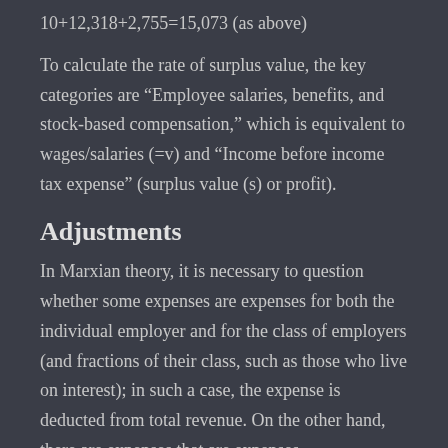To calculate the rate of surplus value, the key categories are “Employee salaries, benefits, and stock-based compensation,” which is equivalent to wages/salaries (=v) and “Income before income tax expense” (surplus value (s) or profit).
Adjustments
In Marxian theory, it is necessary to question whether some expenses are expenses for both the individual employer and for the class of employers (and fractions of their class, such as those who live on interest); in such a case, the expense is deducted from total revenue. On the other hand, there are expenses that are expenses